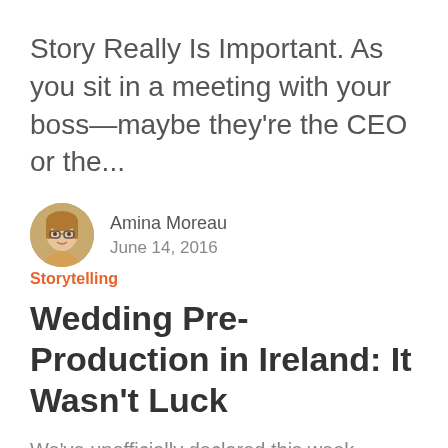Story Really Is Important. As you sit in a meeting with your boss—maybe they're the CEO or the...
Amina Moreau
June 14, 2016
Storytelling
Wedding Pre-Production in Ireland: It Wasn't Luck
We've unofficially declared this week Wedding Week over here at Stillmotion HQ, to get you